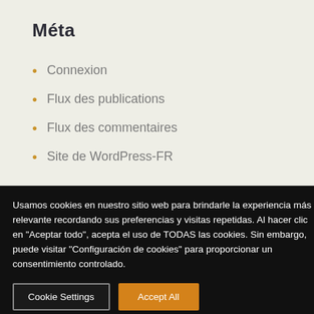Méta
Connexion
Flux des publications
Flux des commentaires
Site de WordPress-FR
Usamos cookies en nuestro sitio web para brindarle la experiencia más relevante recordando sus preferencias y visitas repetidas. Al hacer clic en "Aceptar todo", acepta el uso de TODAS las cookies. Sin embargo, puede visitar "Configuración de cookies" para proporcionar un consentimiento controlado.
Cookie Settings
Accept All